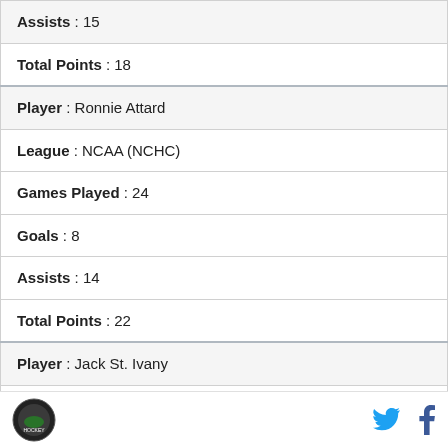| Assists : 15 |
| Total Points : 18 |
| Player : Ronnie Attard |
| League : NCAA (NCHC) |
| Games Played : 24 |
| Goals : 8 |
| Assists : 14 |
| Total Points : 22 |
| Player : Jack St. Ivany |
| League : NCAA (Hockey East) |
| Games Played : 15 |
Logo | Twitter | Facebook